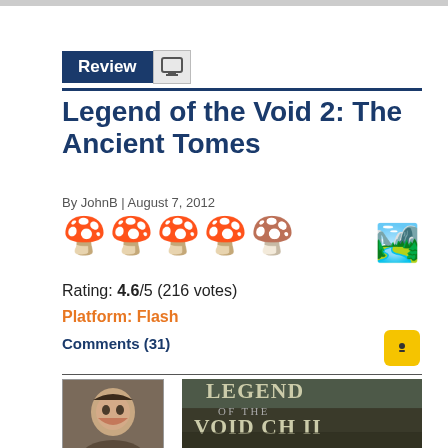Review
Legend of the Void 2: The Ancient Tomes
By JohnB | August 7, 2012
Rating: 4.6/5 (216 votes)
Platform: Flash
Comments (31)
[Figure (photo): Avatar photo of reviewer (man smiling)]
A day in The Void just wouldn't be complete
[Figure (screenshot): Legend of the Void Ch II game title screen with medieval fantasy artwork]